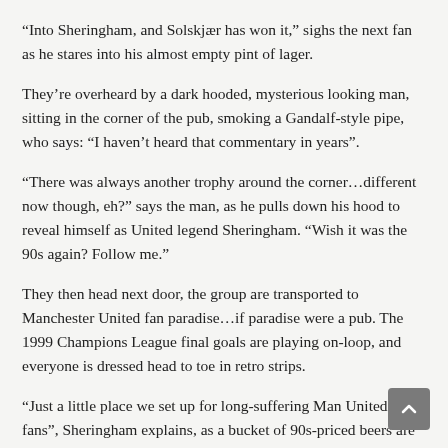“Into Sheringham, and Solskjær has won it,” sighs the next fan as he stares into his almost empty pint of lager.
They’re overheard by a dark hooded, mysterious looking man, sitting in the corner of the pub, smoking a Gandalf-style pipe, who says: “I haven’t heard that commentary in years”.
“There was always another trophy around the corner…different now though, eh?” says the man, as he pulls down his hood to reveal himself as United legend Sheringham. “Wish it was the 90s again? Follow me.”
They then head next door, the group are transported to Manchester United fan paradise…if paradise were a pub. The 1999 Champions League final goals are playing on-loop, and everyone is dressed head to toe in retro strips.
“Just a little place we set up for long-suffering Man United fans”, Sheringham explains, as a bucket of 90s-priced beers are placed on the table by broadcaster and Red Devils superfan, Terry Christian.